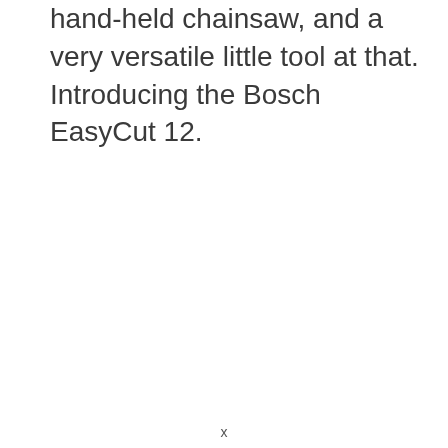hand-held chainsaw, and a very versatile little tool at that. Introducing the Bosch EasyCut 12.
x